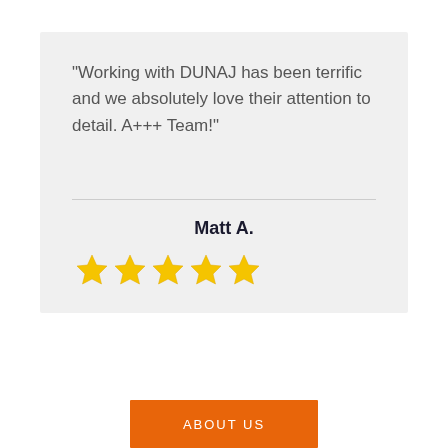“Working with DUNAJ has been terrific and we absolutely love their attention to detail. A+++ Team!”
Matt A.
[Figure (other): Five gold star rating icons]
ABOUT US